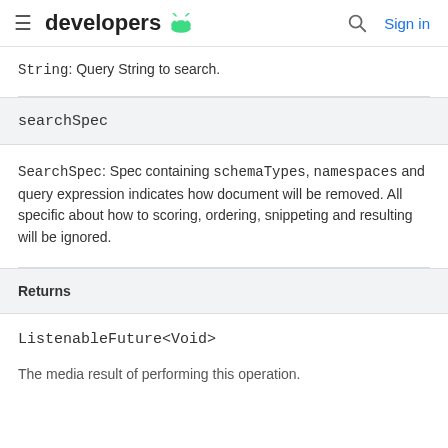developers [android logo] [search] Sign in
String: Query String to search.
searchSpec
SearchSpec: Spec containing schemaTypes, namespaces and query expression indicates how document will be removed. All specific about how to scoring, ordering, snippeting and resulting will be ignored.
Returns
ListenableFuture<Void>
The media result of performing this operation.